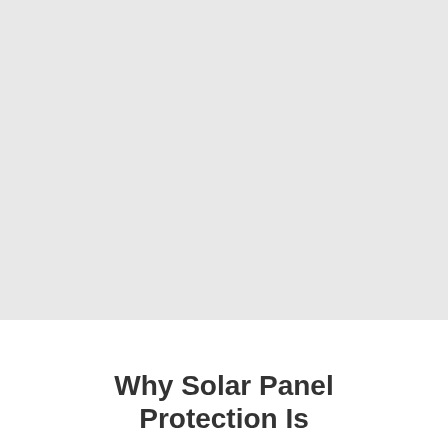[Figure (photo): Large light grey image placeholder area occupying the upper portion of the page]
Why Solar Panel Protection Is